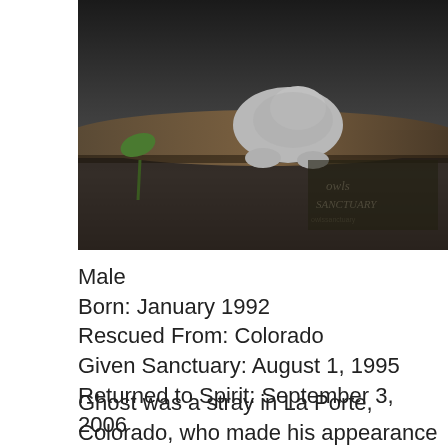[Figure (photo): Close-up photograph of a gray animal (likely a cat or similar) partially hidden under a log, with a small green plant sprout visible on the left. A watermark reading 'owls sanctuary' is visible on a dark surface in the background.]
Male
Born: January 1992
Rescued From: Colorado
Given Sanctuary: August 1, 1995
Returned to Spirit: September 3, 2006
Ghost was a stray in La Porte, Colorado, who made his appearance in a fashion that earned him his name. A young couple who raised rabbits was awakened in the early morning hours by one of their rabbit's screams. As the man looked out his window to see what was going on, he saw the faint